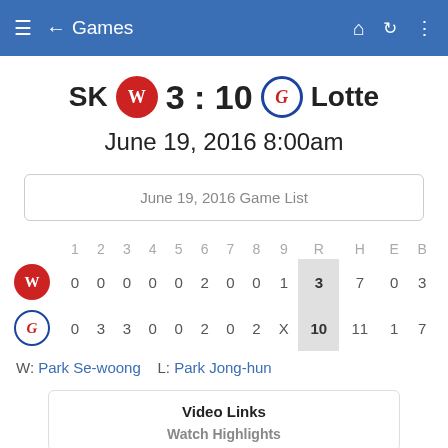← Games
SK 3 : 10 Lotte
June 19, 2016 8:00am
June 19, 2016 Game List
|  | 1 | 2 | 3 | 4 | 5 | 6 | 7 | 8 | 9 | R | H | E | B |
| --- | --- | --- | --- | --- | --- | --- | --- | --- | --- | --- | --- | --- | --- |
| [W] | 0 | 0 | 0 | 0 | 0 | 2 | 0 | 0 | 1 | 3 | 7 | 0 | 3 |
| [G] | 0 | 3 | 3 | 0 | 0 | 2 | 0 | 2 | X | 10 | 11 | 1 | 7 |
W: Park Se-woong    L: Park Jong-hun
Video Links
Watch Highlights